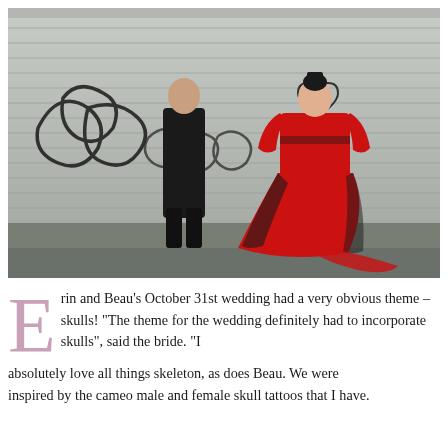[Figure (photo): A couple standing in front of a metal roll-up garage door covered in graffiti. The man is dressed in all black with a long beard and shaved head. The woman wears a dramatic red and black ball gown with a black headpiece, and has visible tattoos on her chest.]
Erin and Beau's October 31st wedding had a very obvious theme – skulls! "The theme for the wedding definitely had to incorporate skulls", said the bride. "I absolutely love all things skeleton, as does Beau. We were inspired by the cameo male and female skull tattoos that I have.